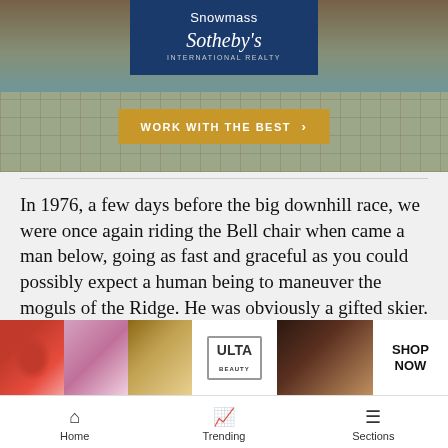[Figure (photo): Advertisement for Snowmass Sotheby's International Realty showing a luxury swimming pool with blue tiles and a 'Work With The Best' call-to-action button in gold]
In 1976, a few days before the big downhill race, we were once again riding the Bell chair when came a man below, going as fast and graceful as you could possibly expect a human being to maneuver the moguls of the Ridge. He was obviously a gifted skier. He was trailed by half a dozen local skiers struggling valiant otherwise
[Figure (screenshot): Ulta Beauty advertisement banner showing beauty product images (lips, makeup brush, eyes) with ULTA logo and SHOP NOW text]
Home  Trending  Sections